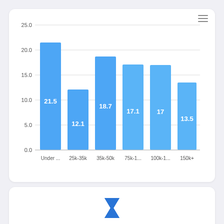[Figure (bar-chart): ]
Median Age